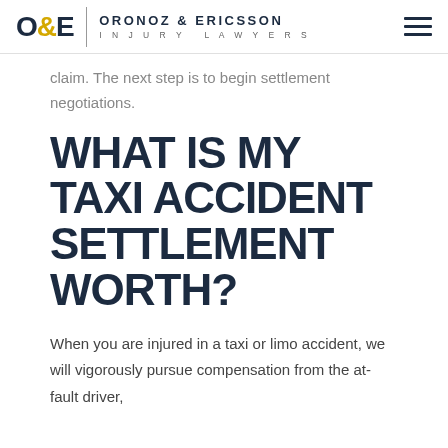O&E | ORONOZ & ERICSSON INJURY LAWYERS
claim. The next step is to begin settlement negotiations.
WHAT IS MY TAXI ACCIDENT SETTLEMENT WORTH?
When you are injured in a taxi or limo accident, we will vigorously pursue compensation from the at-fault driver,